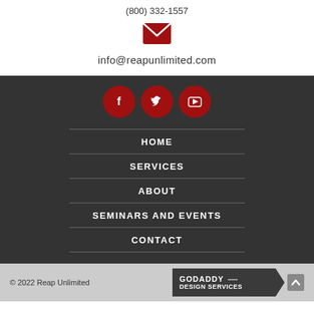(800) 332-1557
[Figure (illustration): Red email envelope icon]
info@reapunlimited.com
[Figure (illustration): Three red circular social media icons: Facebook, Twitter, YouTube]
HOME
SERVICES
ABOUT
SEMINARS AND EVENTS
CONTACT
© 2022 Reap Unlimited | GoDaddy Design Services